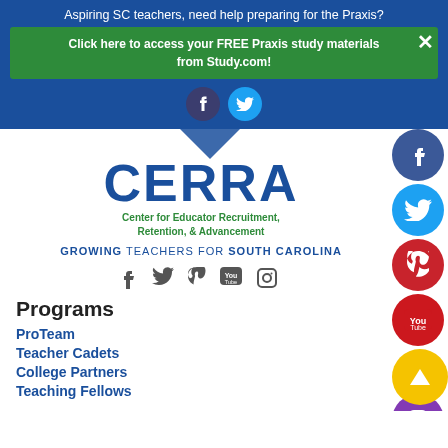Aspiring SC teachers, need help preparing for the Praxis?
Click here to access your FREE Praxis study materials from Study.com!
[Figure (logo): CERRA logo - Center for Educator Recruitment, Retention, & Advancement with tagline GROWING TEACHERS FOR SOUTH CAROLINA]
[Figure (infographic): Social media icons row: Facebook, Twitter, Pinterest, YouTube, Instagram]
Programs
ProTeam
Teacher Cadets
College Partners
Teaching Fellows